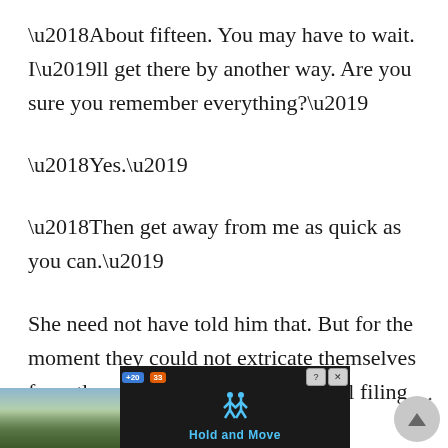‘About fifteen. You may have to wait. I’ll get there by another way. Are you sure you remember everything?’
‘Yes.’
‘Then get away from me as quick as you can.’
She need not have told him that. But for the moment they could not extricate themselves from the crowd. The trucks were still filing post, the people still
[Figure (screenshot): Mobile advertisement banner showing 'Hold and Move' app with dark background, person icon in blue, score numbers in pills, and landscape photo of bare trees on the left side. Close X button and scroll-up button visible on the right.]